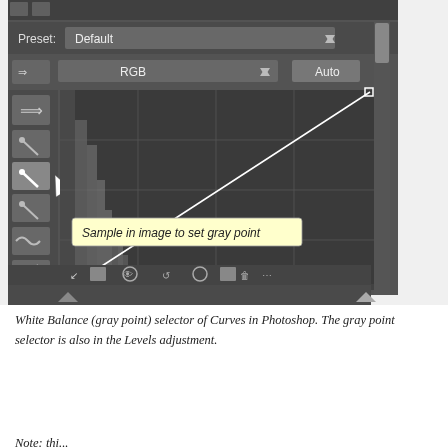[Figure (screenshot): Screenshot of Adobe Photoshop Curves adjustment panel showing the White Balance (gray point) eyedropper selected, with a tooltip reading 'Sample in image to set gray point'. The panel shows Preset: Default, channel: RGB, with an Auto button, and a curves graph with histogram overlay and a diagonal line from bottom-left to top-right.]
White Balance (gray point) selector of Curves in Photoshop. The gray point selector is also in the Levels adjustment.
Note: the...